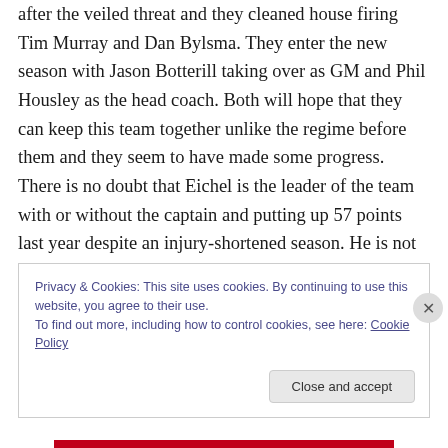after the veiled threat and they cleaned house firing Tim Murray and Dan Bylsma. They enter the new season with Jason Botterill taking over as GM and Phil Housley as the head coach. Both will hope that they can keep this team together unlike the regime before them and they seem to have made some progress. There is no doubt that Eichel is the leader of the team with or without the captain and putting up 57 points last year despite an injury-shortened season. He is not alone up front either as Ryan O'Reilly has been right beside him putting up points. This year they will hope to see some development from Sam Reinhart
Privacy & Cookies: This site uses cookies. By continuing to use this website, you agree to their use.
To find out more, including how to control cookies, see here: Cookie Policy
Close and accept